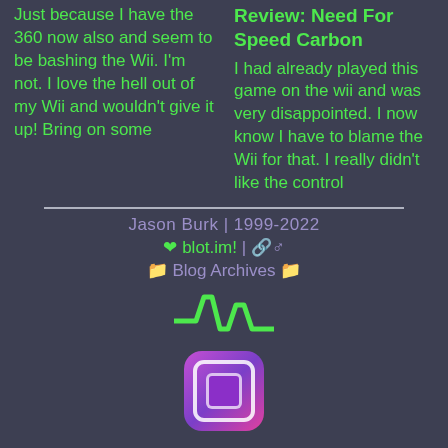Just because I have the 360 now also and seem to be bashing the Wii. I'm not. I love the hell out of my Wii and wouldn't give it up! Bring on some
Review: Need For Speed Carbon
I had already played this game on the wii and was very disappointed. I now know I have to blame the Wii for that. I really didn't like the control
Jason Burk | 1999-2022 ❤ blot.im! | 🔗♂ 📁 Blog Archives 📁
[Figure (other): Green pulse/signal waveform icon]
[Figure (other): App icon with purple/pink gradient background and rounded square logo]